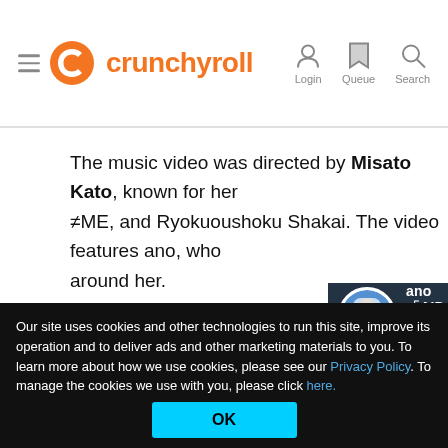Crunchyroll — Login Queue Search
The music video was directed by Misato Kato, known for her ≠ME, and Ryokuoushoku Shakai. The video features ano, who around her.
[Figure (screenshot): YouTube video thumbnail/embed showing 'ano 「AIDA」MUSIC VIDEO' with channel avatar and dark background with a face partially visible on the right.]
Our site uses cookies and other technologies to run this site, improve its operation and to deliver ads and other marketing materials to you. To learn more about how we use cookies, please see our Privacy Policy. To manage the cookies we use with you, please click here.